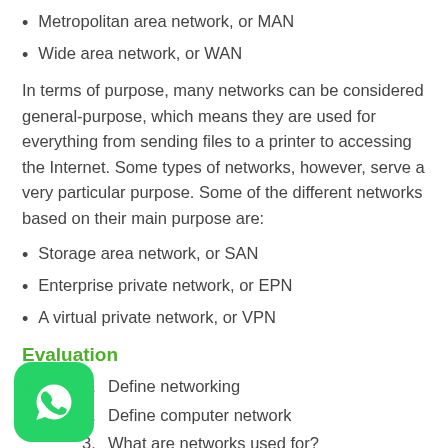Metropolitan area network, or MAN
Wide area network, or WAN
In terms of purpose, many networks can be considered general-purpose, which means they are used for everything from sending files to a printer to accessing the Internet. Some types of networks, however, serve a very particular purpose. Some of the different networks based on their main purpose are:
Storage area network, or SAN
Enterprise private network, or EPN
A virtual private network, or VPN
Evaluation
Define networking
Define computer network
What are networks used for?
List 6 types of network